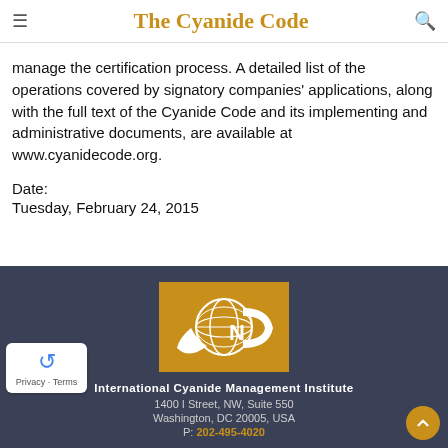The Cyanide Code
manage the certification process. A detailed list of the operations covered by signatory companies' applications, along with the full text of the Cyanide Code and its implementing and administrative documents, are available at www.cyanidecode.org.
Date:
Tuesday, February 24, 2015
[Figure (logo): International Cyanide Management Institute logo — gold background with white ICN letters and globe design]
International Cyanide Management Institute
1400 I Street, NW, Suite 550
Washington, DC 20005, USA
P: 202-495-4020